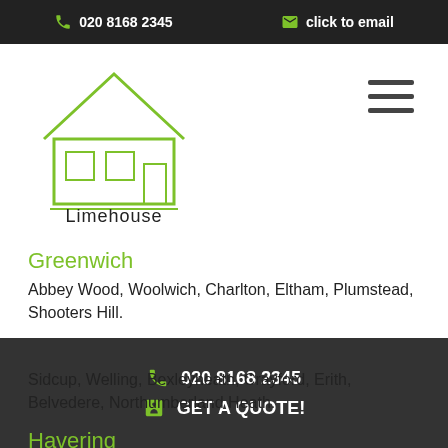020 8168 2345   click to email
[Figure (logo): Limehouse company logo with house illustration and text 'Limehouse']
Greenwich
Abbey Wood, Woolwich, Charlton, Eltham, Plumstead, Shooters Hill.
Bexley
Sidcup, Welling, Bexleyheath, Crayford, Erith, Belvedere, Northumberland Heath.
Havering
020 8168 2345   GET A QUOTE!